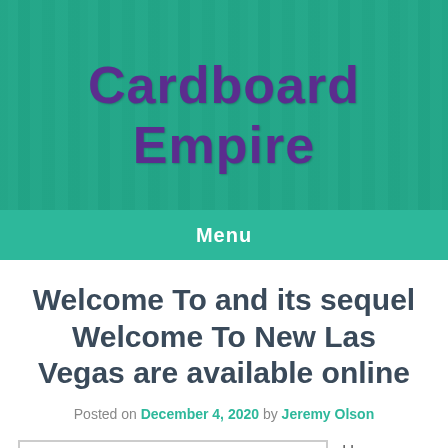[Figure (photo): Cardboard Empire store header image with board game shelves in background, teal/green overlay]
Cardboard Empire
Menu
Welcome To and its sequel Welcome To New Las Vegas are available online
Posted on December 4, 2020 by Jeremy Olson
[Figure (photo): Broken/loading image placeholder]
Happy Friday! We're on